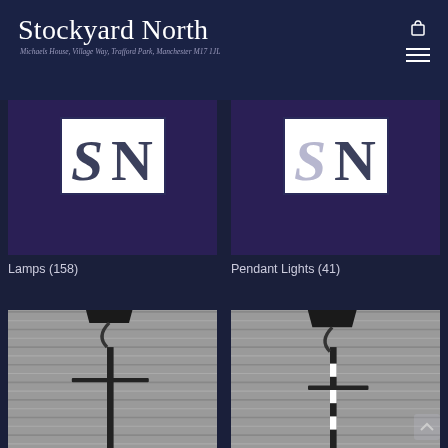Stockyard North — Michaels House, Village Way, Trafford Park, Manchester M17 1JL
[Figure (logo): Stockyard North logo — stylised SN letters on white background, dark navy border, on purple/navy square backdrop]
[Figure (logo): Stockyard North logo — stylised SN letters on white background, dark navy border, on purple/navy square backdrop]
Lamps (158)
Pendant Lights (41)
[Figure (photo): Black ornate street lamp post with lantern head against grey corrugated metal shutter background]
[Figure (photo): Black ornate street lamp post with lantern head and white/black striped pole detail against grey corrugated metal shutter background]